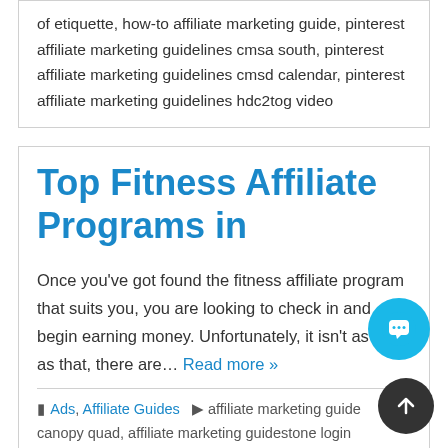of etiquette, how-to affiliate marketing guide, pinterest affiliate marketing guidelines cmsa south, pinterest affiliate marketing guidelines cmsd calendar, pinterest affiliate marketing guidelines hdc2tog video
Top Fitness Affiliate Programs in
Once you've got found the fitness affiliate program that suits you, you are looking to check in and begin earning money. Unfortunately, it isn't as easy as that, there are… Read more »
Ads, Affiliate Guides   affiliate marketing guide canopy quad, affiliate marketing guidestone login instagram chat, affiliate marketing guidestone login roblox back, affiliate marketing guidestone login roblox sign